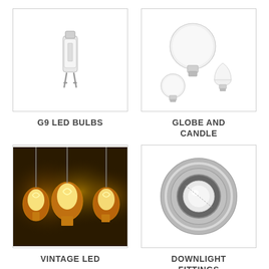[Figure (photo): G9 LED bulb capsule style, small clear/frosted pin base bulb on white background]
[Figure (photo): Globe and candle LED bulbs: one large globe bulb and two smaller candle/golf ball bulbs on white background]
G9 LED BULBS
GLOBE AND CANDLE
[Figure (photo): Vintage LED filament bulbs glowing warm yellow/gold, hanging decorative Edison-style bulbs]
[Figure (photo): Downlight fitting: brushed nickel/chrome recessed circular downlight fitting with halogen bulb]
VINTAGE LED
DOWNLIGHT FITTINGS
[Figure (photo): Partially visible product image at bottom left]
[Figure (photo): Partially visible product image at bottom right]